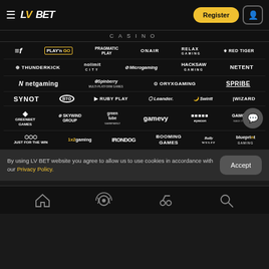[Figure (logo): LV BET Casino website header with hamburger menu, LV BET logo, Register button, and account icon]
CASINO
[Figure (infographic): Grid of casino game provider logos: ELK, Play'n GO, Pragmatic Play, On Air Entertainment, Relax Gaming, Red Tiger, Thunderkick, Nolimit City, Microgaming, Hacksaw Gaming, NetEnt, netgaming, Spinberry, Oryx Gaming, Spribe, Synot, BTG, Ruby Play, Leander, Swintt, Wizard Games, Greentube, Greenbet Games, Skywind Group, Gamevy, Eyecon, Gamomat, Just For The Win, 1x2gaming, Iron Dog, Booming Games, Bally Wulff, Blueprint Gaming]
By using LV BET website you agree to allow us to use cookies in accordance with our Privacy Policy.
[Figure (infographic): Bottom navigation bar with home, live/radio, slots, and search icons]